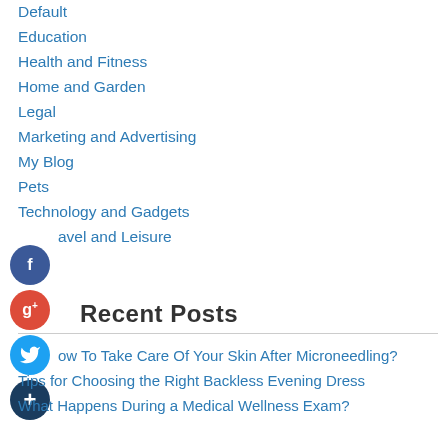Default
Education
Health and Fitness
Home and Garden
Legal
Marketing and Advertising
My Blog
Pets
Technology and Gadgets
Travel and Leisure
Recent Posts
How To Take Care Of Your Skin After Microneedling?
Tips for Choosing the Right Backless Evening Dress
What Happens During a Medical Wellness Exam?